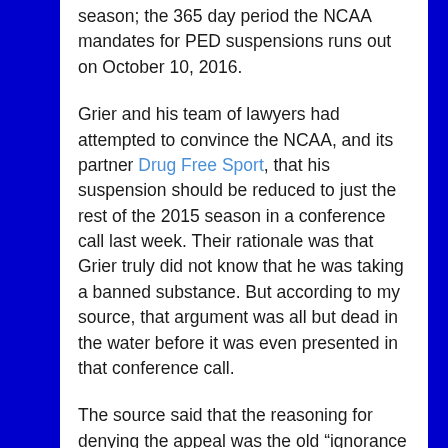season; the 365 day period the NCAA mandates for PED suspensions runs out on October 10, 2016.
Grier and his team of lawyers had attempted to convince the NCAA, and its partner Drug Free Sport, that his suspension should be reduced to just the rest of the 2015 season in a conference call last week. Their rationale was that Grier truly did not know that he was taking a banned substance. But according to my source, that argument was all but dead in the water before it was even presented in that conference call.
The source said that the reasoning for denying the appeal was the old “ignorance of the law is no excuse” adage. When a player appeals a drug-related suspension to the NCAA, there are two possible routes the athlete can take: they can fight